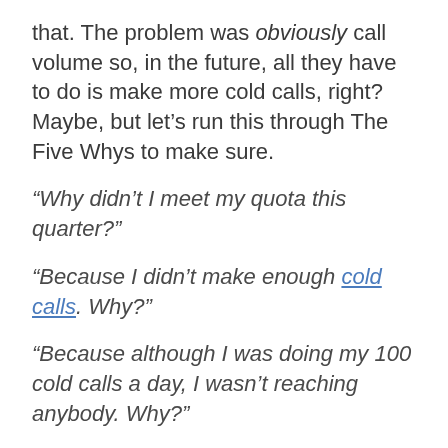that. The problem was obviously call volume so, in the future, all they have to do is make more cold calls, right? Maybe, but let’s run this through The Five Whys to make sure.
“Why didn’t I meet my quota this quarter?”
“Because I didn’t make enough cold calls. Why?”
“Because although I was doing my 100 cold calls a day, I wasn’t reaching anybody. Why?”
“Because most of the numbers I had weren’t valid. Why?”
“Because I bought 100,000 leads off a website to meet my quota, and the leads were poor